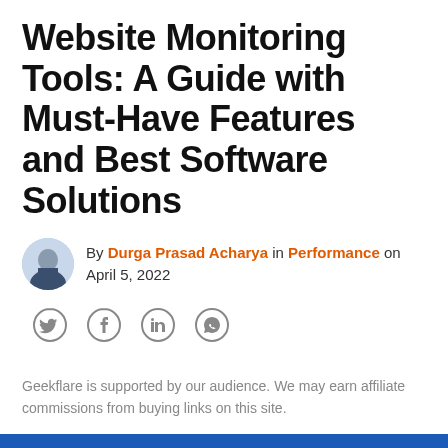Website Monitoring Tools: A Guide with Must-Have Features and Best Software Solutions
By Durga Prasad Acharya in Performance on April 5, 2022
[Figure (infographic): Social share icons: Twitter, Facebook, LinkedIn, WhatsApp]
Geekflare is supported by our audience. We may earn affiliate commissions from buying links on this site.